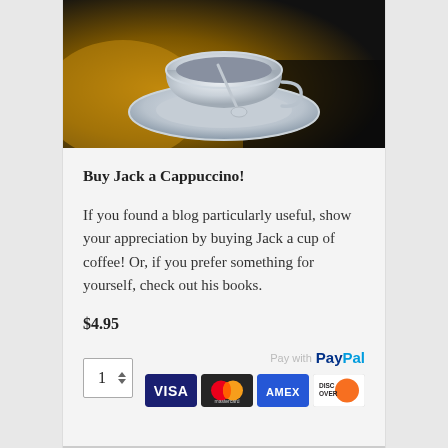[Figure (photo): A white ceramic coffee cup and saucer on a dark background with golden/brown tones, photographed from above at a slight angle.]
Buy Jack a Cappuccino!
If you found a blog particularly useful, show your appreciation by buying Jack a cup of coffee! Or, if you prefer something for yourself, check out his books.
$4.95
[Figure (infographic): Quantity selector showing '1' with up/down arrows, PayPal logo, and payment card icons for VISA, Mastercard, AMEX, and Discover.]